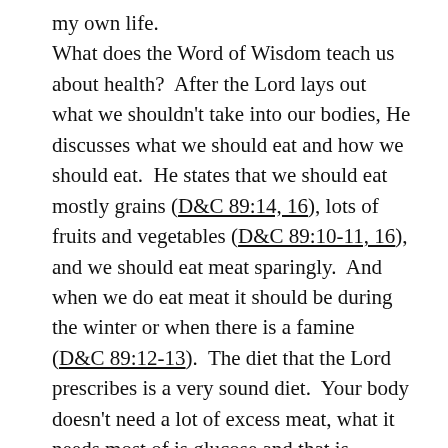my own life. What does the Word of Wisdom teach us about health? After the Lord lays out what we shouldn't take into our bodies, He discusses what we should eat and how we should eat. He states that we should eat mostly grains (D&C 89:14, 16), lots of fruits and vegetables (D&C 89:10-11, 16), and we should eat meat sparingly. And when we do eat meat it should be during the winter or when there is a famine (D&C 89:12-13). The diet that the Lord prescribes is a very sound diet. Your body doesn't need a lot of excess meat, what it needs most of is glucose and that is supplied by grains, fruits and vegetables. Of course you can't leave out the fact that their are essential amino acids, fats, and vitamins that we need from meat. But if you eat just a small quantity of meat and variety of fresh fruits and vegetables, you will get everything that you need.